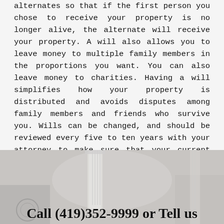alternates so that if the first person you chose to receive your property is no longer alive, the alternate will receive your property. A will also allows you to leave money to multiple family members in the proportions you want. You can also leave money to charities. Having a will simplifies how your property is distributed and avoids disputes among family members and friends who survive you. Wills can be changed, and should be reviewed every five to ten years with your attorney to make sure that your current wishes are expressed.
Read More
[Figure (photo): Grayscale photograph of architectural columns or building detail, with overlaid text reading 'Call (419)352-9999 or Tell us']
Call (419)352-9999 or Tell us